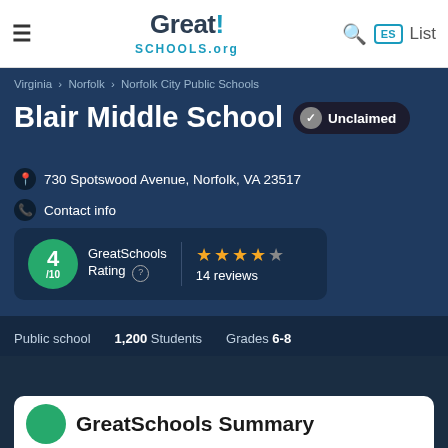GreatSchools.org
Virginia › Norfolk › Norfolk City Public Schools
Blair Middle School
Unclaimed
730 Spotswood Avenue, Norfolk, VA 23517
Contact info
GreatSchools Rating 4/10 ★★★★☆ 14 reviews
Public school  1,200 Students  Grades 6-8
GreatSchools Summary